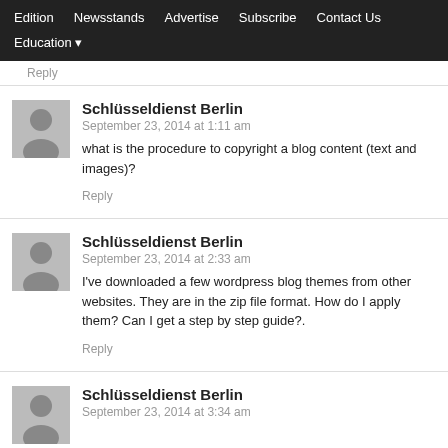Edition  Newsstands  Advertise  Subscribe  Contact Us  Education
Reply
Schlüsseldienst Berlin
September 23, 2014 at 1:11 am
what is the procedure to copyright a blog content (text and images)?
Reply
Schlüsseldienst Berlin
September 23, 2014 at 2:33 am
I've downloaded a few wordpress blog themes from other websites. They are in the zip file format. How do I apply them? Can I get a step by step guide?.
Reply
Schlüsseldienst Berlin
September 23, 2014 at 3:34 am